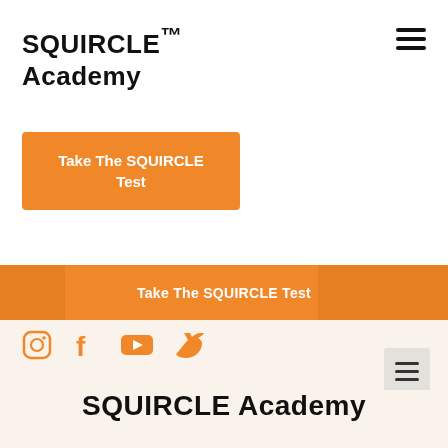SQUIRCLE™ Academy
Take The SQUIRCLE Test
Take The SQUIRCLE Test
[Figure (other): Social media icons row: Instagram, Facebook, YouTube, Twitter in orange]
[Figure (other): Hamburger menu icon bottom right]
SQUIRCLE Academy